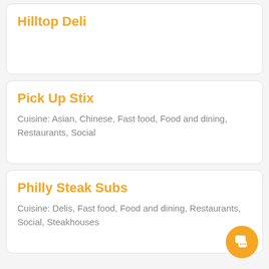Hilltop Deli
Pick Up Stix
Cuisine: Asian, Chinese, Fast food, Food and dining, Restaurants, Social
Philly Steak Subs
Cuisine: Delis, Fast food, Food and dining, Restaurants, Social, Steakhouses